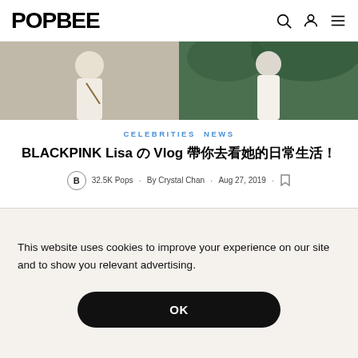POPBEE
[Figure (photo): Two women in white outfits — left against neutral background, right against green foliage background]
CELEBRITIES NEWS
BLACKPINK Lisa の Vlog 帶你去看她的日常生活！
32.5K Pops · By Crystal Chan · Aug 27, 2019 ·
[Figure (photo): Partial article images below the byline]
This website uses cookies to improve your experience on our site and to show you relevant advertising.
OK